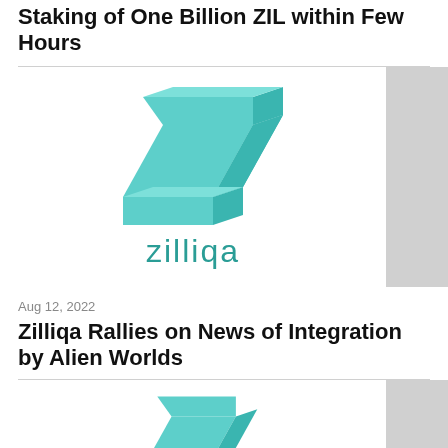Zilliqa Stamps Its Entry Into DeFi Space With Staking of One Billion ZIL within Few Hours
[Figure (logo): Zilliqa logo: teal 3D Z letter mark above the word 'zilliqa' in teal lowercase letters]
Aug 12, 2022
Zilliqa Rallies on News of Integration by Alien Worlds
[Figure (logo): Zilliqa logo partial: teal 3D Z letter mark, cropped at bottom of page]